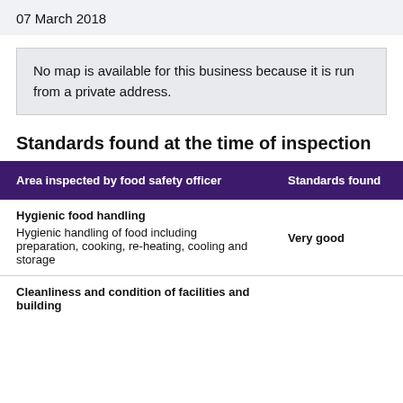07 March 2018
No map is available for this business because it is run from a private address.
Standards found at the time of inspection
| Area inspected by food safety officer | Standards found |
| --- | --- |
| Hygienic food handling
Hygienic handling of food including preparation, cooking, re-heating, cooling and storage | Very good |
| Cleanliness and condition of facilities and building |  |